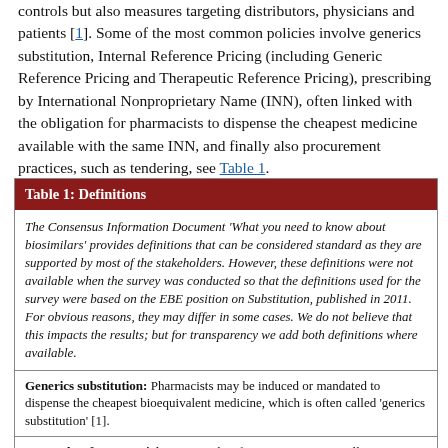controls but also measures targeting distributors, physicians and patients [1]. Some of the most common policies involve generics substitution, Internal Reference Pricing (including Generic Reference Pricing and Therapeutic Reference Pricing), prescribing by International Nonproprietary Name (INN), often linked with the obligation for pharmacists to dispense the cheapest medicine available with the same INN, and finally also procurement practices, such as tendering, see Table 1.
| Table 1: Definitions |
| --- |
| The Consensus Information Document 'What you need to know about biosimilars' provides definitions that can be considered standard as they are supported by most of the stakeholders. However, these definitions were not available when the survey was conducted so that the definitions used for the survey were based on the EBE position on Substitution, published in 2011. For obvious reasons, they may differ in some cases. We do not believe that this impacts the results; but for transparency we add both definitions where available. |
| Generics substitution: Pharmacists may be induced or mandated to dispense the cheapest bioequivalent medicine, which is often called 'generics substitution' [1]. |
| Internal Reference Pricing: Internal Reference Pricing typically means determining the maximum price for medicinal products and the maximum reimbursement rate for each medicine by grouping them and calculating the price, e.g. average, lowest [1]. |